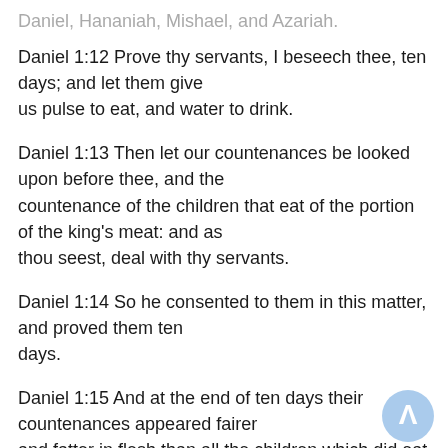Daniel 1:12 Prove thy servants, I beseech thee, ten days; and let them give us pulse to eat, and water to drink.
Daniel 1:13 Then let our countenances be looked upon before thee, and the countenance of the children that eat of the portion of the king's meat: and as thou seest, deal with thy servants.
Daniel 1:14 So he consented to them in this matter, and proved them ten days.
Daniel 1:15 And at the end of ten days their countenances appeared fairer and fatter in flesh than all the children which did eat the portion of the